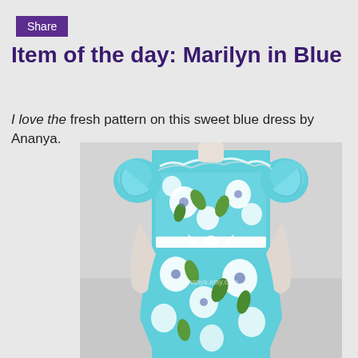Share
Item of the day: Marilyn in Blue
I love the fresh pattern on this sweet blue dress by Ananya.
[Figure (photo): A mannequin wearing a light blue floral dress with white flowers and green leaves, featuring puff sleeves, smocked bodice, white ribbon belt/bow at waist, and a long flowing skirt. Watermark reads ananya.etsy.com]